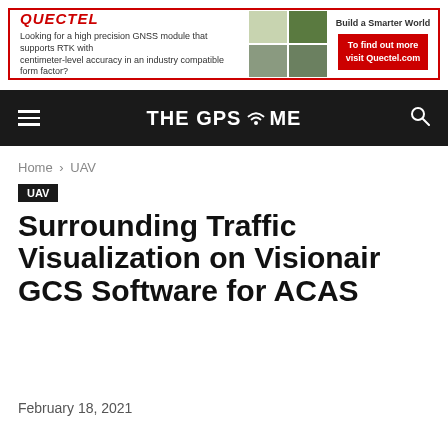[Figure (infographic): Quectel advertisement banner with red border. Shows Quectel logo in red italic, text about high precision GNSS module with RTK and centimeter-level accuracy, product and field images, 'Build a Smarter World' tagline, and red CTA button 'To find out more visit Quectel.com'.]
THE GPS TIME
Home › UAV
UAV
Surrounding Traffic Visualization on Visionair GCS Software for ACAS
February 18, 2021